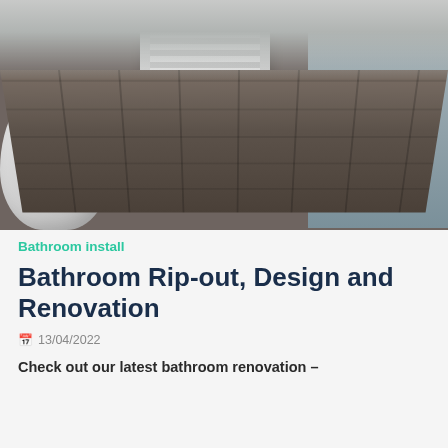[Figure (photo): Interior bathroom photo showing a wood-effect vinyl floor, white toilet on the left, white radiator/cabinet in the center-left, and a grey bath panel on the right side.]
Bathroom install
Bathroom Rip-out, Design and Renovation
13/04/2022
Check out our latest bathroom renovation –